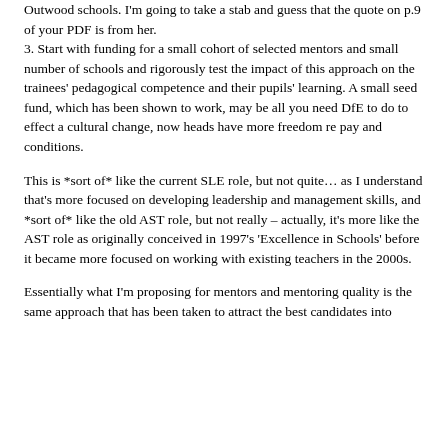Outwood schools. I'm going to take a stab and guess that the quote on p.9 of your PDF is from her.
3. Start with funding for a small cohort of selected mentors and small number of schools and rigorously test the impact of this approach on the trainees' pedagogical competence and their pupils' learning. A small seed fund, which has been shown to work, may be all you need DfE to do to effect a cultural change, now heads have more freedom re pay and conditions.
This is *sort of* like the current SLE role, but not quite… as I understand that's more focused on developing leadership and management skills, and *sort of* like the old AST role, but not really – actually, it's more like the AST role as originally conceived in 1997's 'Excellence in Schools' before it became more focused on working with existing teachers in the 2000s.
Essentially what I'm proposing for mentors and mentoring quality is the same approach that has been taken to attract the best candidates into